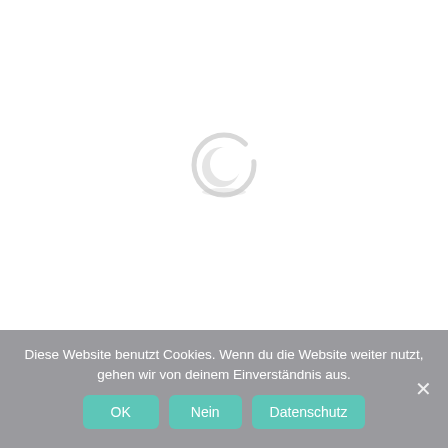[Figure (illustration): Loading spinner icon — a circular arc in light gray suggesting a spinner/loading animation, centered on the white page area above the cookie banner.]
Diese Website benutzt Cookies. Wenn du die Website weiter nutzt, gehen wir von deinem Einverständnis aus.
OK
Nein
Datenschutz